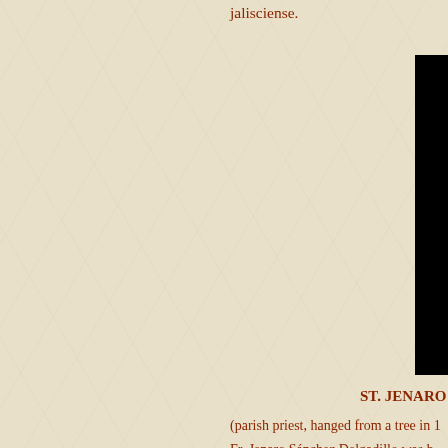jalisciense.
[Figure (photo): Black rectangular image block on right side of page]
ST. JENARO S
(parish priest, hanged from a tree in 1
Fr. Jenaro Sánchez Delgadillo was b Saying to his executioners: "I forgive may Christ the King live forever!"